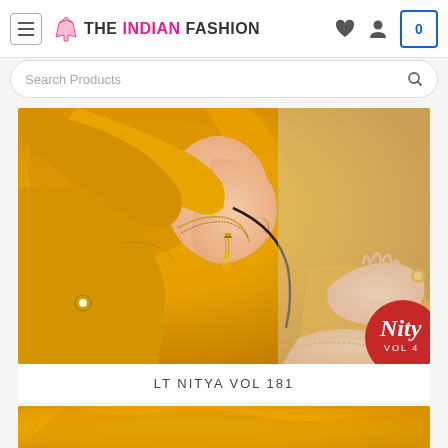THE INDIAN FASHION — navigation header with hamburger menu, logo, heart icon, user icon, cart (0)
Search Products
[Figure (photo): Woman wearing yellow/golden Indian traditional outfit with dupatta draped over head, side profile, holding bangles or making a gesture with hands. A partially visible red circular brand badge in bottom-right corner shows 'Nity' text and 'VOL 4' below it.]
LT NITYA VOL 181
[Figure (photo): Bottom strip showing partial view of another product image, also in yellow/golden Indian fashion outfit.]